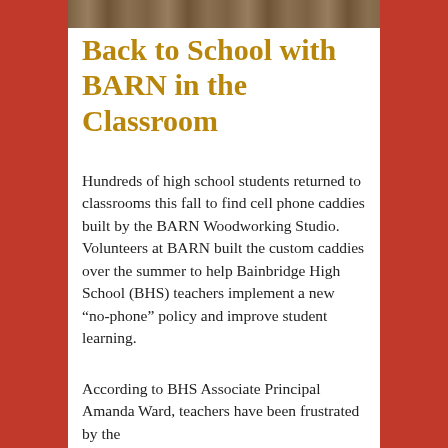[Figure (photo): Partial photo strip at top of article, showing a blurred/cropped image background]
Back to School with BARN in the Classroom
Hundreds of high school students returned to classrooms this fall to find cell phone caddies built by the BARN Woodworking Studio. Volunteers at BARN built the custom caddies over the summer to help Bainbridge High School (BHS) teachers implement a new “no-phone” policy and improve student learning.
According to BHS Associate Principal Amanda Ward, teachers have been frustrated by the